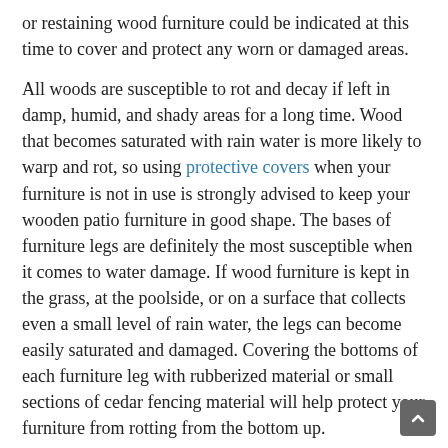or restaining wood furniture could be indicated at this time to cover and protect any worn or damaged areas.
All woods are susceptible to rot and decay if left in damp, humid, and shady areas for a long time. Wood that becomes saturated with rain water is more likely to warp and rot, so using protective covers when your furniture is not in use is strongly advised to keep your wooden patio furniture in good shape. The bases of furniture legs are definitely the most susceptible when it comes to water damage. If wood furniture is kept in the grass, at the poolside, or on a surface that collects even a small level of rain water, the legs can become easily saturated and damaged. Covering the bottoms of each furniture leg with rubberized material or small sections of cedar fencing material will help protect your furniture from rotting from the bottom up.
Finally, exposure to chemicals including solvents and chlorine, and exposure to common items such as alcoholic beverages, plants and flower nectar, and hot items (off of a grill, for example) can permanently stain and damage wood surfaces. Additionally, it is vital to prevent plastic objects, like plastic table cloths, toys,